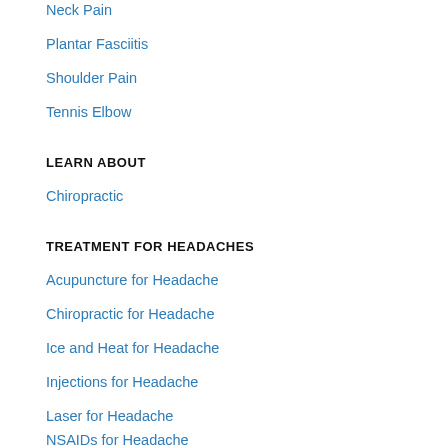Neck Pain
Plantar Fasciitis
Shoulder Pain
Tennis Elbow
LEARN ABOUT
Chiropractic
TREATMENT FOR HEADACHES
Acupuncture for Headache
Chiropractic for Headache
Ice and Heat for Headache
Injections for Headache
Laser for Headache
NSAIDs for Headache